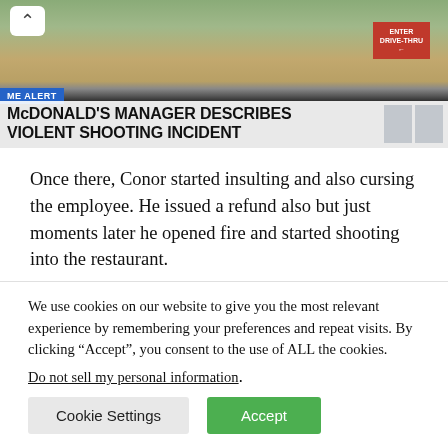[Figure (screenshot): News broadcast screenshot showing a McDonald's parking lot / drive-thru entrance from outside. A blue breaking news banner reads 'ME ALERT'. A white lower-third headline reads 'McDONALD'S MANAGER DESCRIBES VIOLENT SHOOTING INCIDENT'. A red drive-thru sign is visible top-right. Gray boxes appear on the right of the headline bar.]
Once there, Conor started insulting and also cursing the employee. He issued a refund also but just moments later he opened fire and started shooting into the restaurant.
We use cookies on our website to give you the most relevant experience by remembering your preferences and repeat visits. By clicking “Accept”, you consent to the use of ALL the cookies.
Do not sell my personal information.